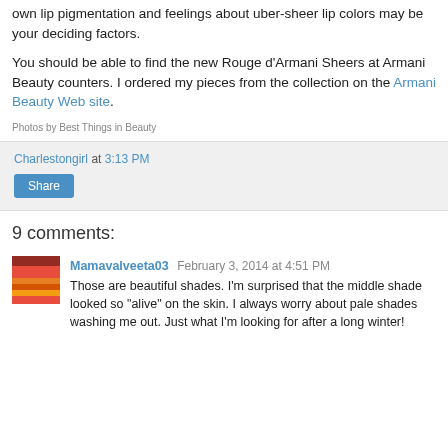own lip pigmentation and feelings about uber-sheer lip colors may be your deciding factors.
You should be able to find the new Rouge d'Armani Sheers at Armani Beauty counters. I ordered my pieces from the collection on the Armani Beauty Web site.
Photos by Best Things in Beauty
Charlestongirl at 3:13 PM
Share
9 comments:
Mamavalveeta03 February 3, 2014 at 4:51 PM
Those are beautiful shades. I'm surprised that the middle shade looked so "alive" on the skin. I always worry about pale shades washing me out. Just what I'm looking for after a long winter!